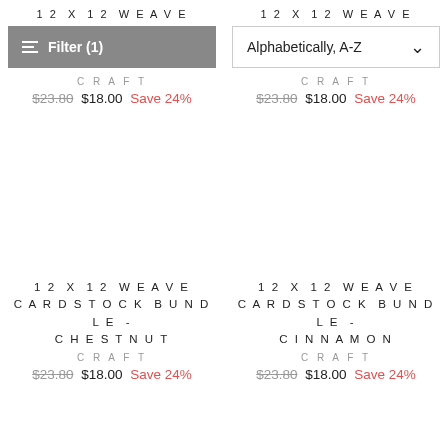12 X 12 WEAVE
12 X 12 WEAVE
Filter (1)
Alphabetically, A-Z
CRAFT
CRAFT
$23.80 $18.00 Save 24%
$23.80 $18.00 Save 24%
12 X 12 WEAVE CARDSTOCK BUNDLE - CHESTNUT
12 X 12 WEAVE CARDSTOCK BUNDLE - CINNAMON
CRAFT
CRAFT
$23.80 $18.00 Save 24%
$23.80 $18.00 Save 24%